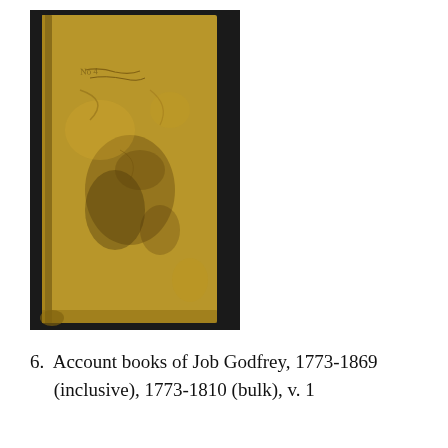[Figure (photo): Photograph of an old leather-bound account book cover, worn and stained, tan/brown in color, with faint handwritten text visible near the top. The book is photographed against a dark background.]
6.  Account books of Job Godfrey, 1773-1869 (inclusive), 1773-1810 (bulk), v. 1